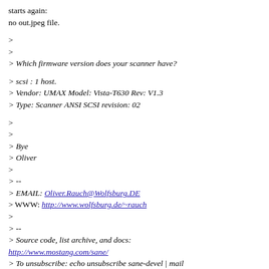starts again:
no out.jpeg file.
>
>
> Which firmware version does your scanner have?
> scsi : 1 host.
> Vendor: UMAX Model: Vista-T630 Rev: V1.3
> Type: Scanner ANSI SCSI revision: 02
>
>
> Bye
> Oliver
>
> --
> EMAIL: Oliver.Rauch@Wolfsburg.DE
> WWW: http://www.wolfsburg.de/~rauch
>
> --
> Source code, list archive, and docs:
http://www.mostang.com/sane/
> To unsubscribe: echo unsubscribe sane-devel | mail
majordomo@mostang.com